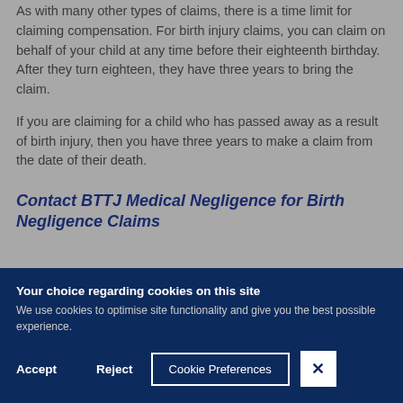As with many other types of claims, there is a time limit for claiming compensation. For birth injury claims, you can claim on behalf of your child at any time before their eighteenth birthday. After they turn eighteen, they have three years to bring the claim.
If you are claiming for a child who has passed away as a result of birth injury, then you have three years to make a claim from the date of their death.
Contact BTTJ Medical Negligence for Birth Negligence Claims
Your choice regarding cookies on this site
We use cookies to optimise site functionality and give you the best possible experience.